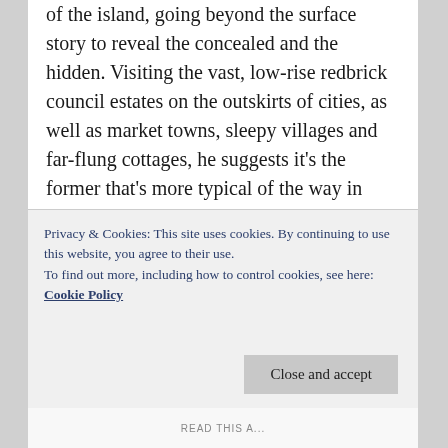of the island, going beyond the surface story to reveal the concealed and the hidden. Visiting the vast, low-rise redbrick council estates on the outskirts of cities, as well as market towns, sleepy villages and far-flung cottages, he suggests it's the former that's more typical of the way in which most of the islanders live: in touching distance of both city and country, but somehow removed from both of them.

In the eastern flatlands, he tries to go beyond the stories in the headlines, seeking out the often-exploited foreign vegetable pickers upon whose labour the country depends for cheap food. Taylor also disrupts certain narratives about the
Privacy & Cookies: This site uses cookies. By continuing to use this website, you agree to their use.
To find out more, including how to control cookies, see here: Cookie Policy
Close and accept